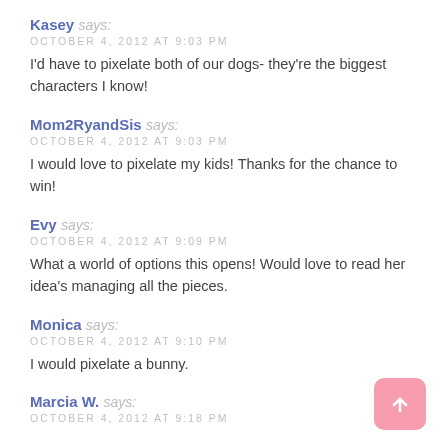Kasey says:
OCTOBER 4, 2012 AT 9:03 PM
I'd have to pixelate both of our dogs- they're the biggest characters I know!
Mom2RyandSis says:
OCTOBER 4, 2012 AT 9:03 PM
I would love to pixelate my kids! Thanks for the chance to win!
Evy says:
OCTOBER 4, 2012 AT 9:09 PM
What a world of options this opens! Would love to read her idea's managing all the pieces.
Monica says:
OCTOBER 4, 2012 AT 9:10 PM
I would pixelate a bunny.
Marcia W. says:
OCTOBER 4, 2012 AT 9:18 PM